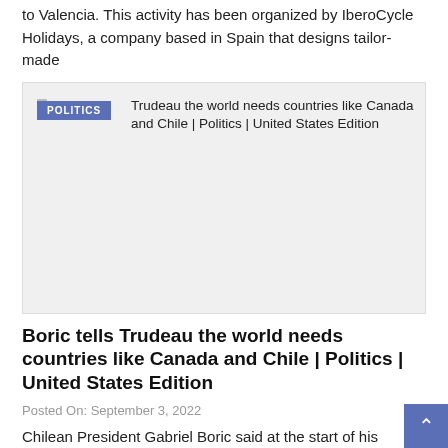to Valencia. This activity has been organized by IberoCycle Holidays, a company based in Spain that designs tailor-made
[Figure (screenshot): Article card with POLITICS badge and title: Trudeau the world needs countries like Canada and Chile | Politics | United States Edition, with a light gray image placeholder area]
Boric tells Trudeau the world needs countries like Canada and Chile | Politics | United States Edition
Posted On: September 3, 2022
Chilean President Gabriel Boric said at the start of his meeting in Ottawa with Canadian Prime Minister that the